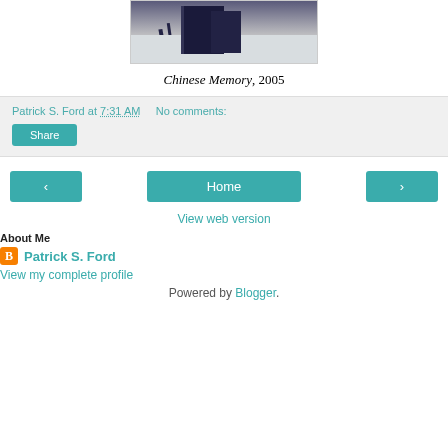[Figure (photo): Partial view of a photo showing dark objects (possibly books/furniture) on a light background, cropped at top]
Chinese Memory, 2005
Patrick S. Ford at 7:31 AM   No comments:
Share
< Home >
View web version
About Me
Patrick S. Ford
View my complete profile
Powered by Blogger.